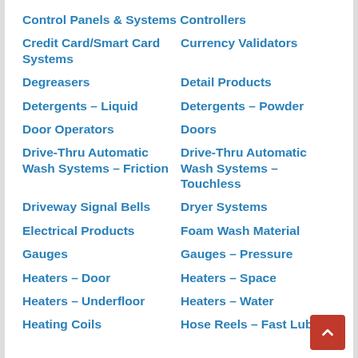Control Panels & Systems Controllers
Credit Card/Smart Card Systems
Currency Validators
Degreasers
Detail Products
Detergents – Liquid
Detergents – Powder
Door Operators
Doors
Drive-Thru Automatic Wash Systems – Friction
Drive-Thru Automatic Wash Systems – Touchless
Driveway Signal Bells
Dryer Systems
Electrical Products
Foam Wash Material
Gauges
Gauges – Pressure
Heaters – Door
Heaters – Space
Heaters – Underfloor
Heaters – Water
Heating Coils
Hose Reels – Fast Lube